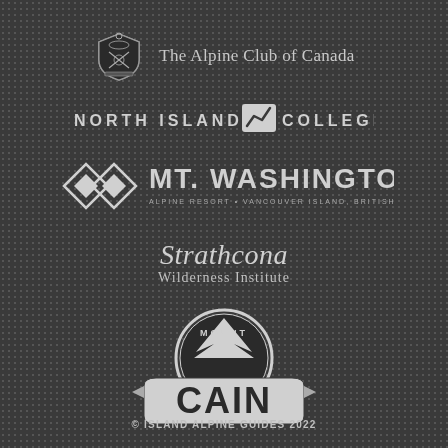[Figure (logo): The Alpine Club of Canada logo with shield emblem and text]
[Figure (logo): North Island College logo with stylized arrow/graph symbol]
[Figure (logo): Mt. Washington Alpine Resort logo with diamond shapes]
[Figure (logo): Strathcona Wilderness Institute script logo]
[Figure (logo): Mount Cain logo with mountain silhouette in circular badge]
© ISLAND ALPINE GUIDES 2022